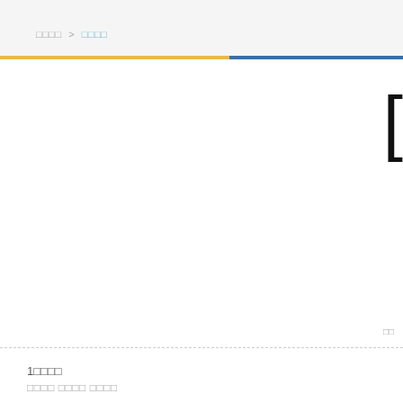□□□□ > □□□□
□□□□□□□□□□□□□□□□□□□□□□□□□□□□□□□□□□□□
1□□□□
□□□□ □□□□ □□□□
WBC white blood cell count □□□□□
GR% granulocyte □□□□□□□□
LY% lymphocyte □□□□□□□
MID% □□□□□□□□
EOS% eosimophil □□□□□□□□□□